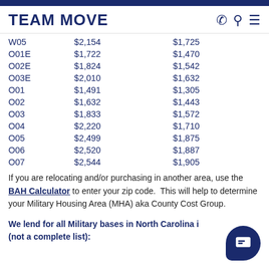TEAM MOVE
| W05 | $2,154 | $1,725 |
| O01E | $1,722 | $1,470 |
| O02E | $1,824 | $1,542 |
| O03E | $2,010 | $1,632 |
| O01 | $1,491 | $1,305 |
| O02 | $1,632 | $1,443 |
| O03 | $1,833 | $1,572 |
| O04 | $2,220 | $1,710 |
| O05 | $2,499 | $1,875 |
| O06 | $2,520 | $1,887 |
| O07 | $2,544 | $1,905 |
If you are relocating and/or purchasing in another area, use the BAH Calculator to enter your zip code.  This will help to determine your Military Housing Area (MHA) aka County Cost Group.
We lend for all Military bases in North Carolina including (not a complete list):